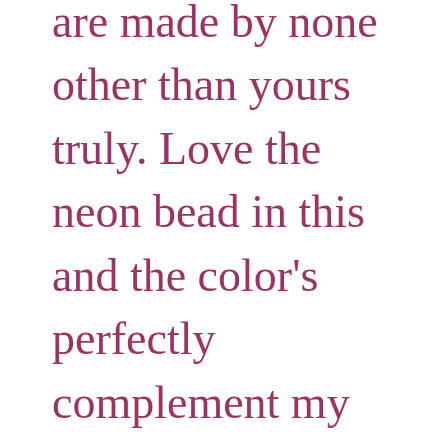are made by none other than yours truly. Love the neon bead in this and the color's perfectly complement my blouse. Then we have one of my favorite rings. Might have to have another one designed sometime soon.